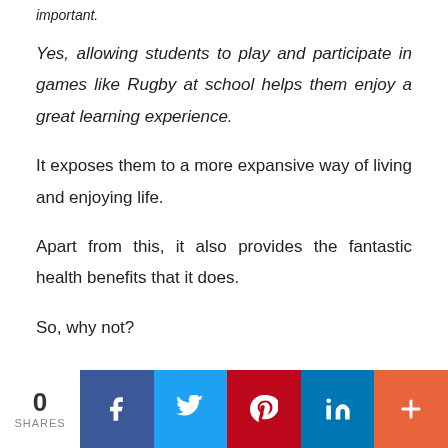important.
Yes, allowing students to play and participate in games like Rugby at school helps them enjoy a great learning experience.
It exposes them to a more expansive way of living and enjoying life.
Apart from this, it also provides the fantastic health benefits that it does.
So, why not?
0 SHARES | Facebook | Twitter | Pinterest | LinkedIn | More